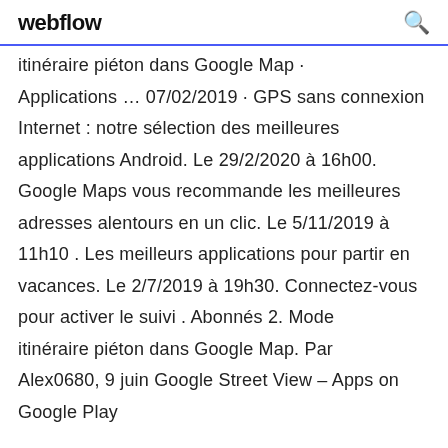webflow
itinéraire piéton dans Google Map · Applications … 07/02/2019 · GPS sans connexion Internet : notre sélection des meilleures applications Android. Le 29/2/2020 à 16h00. Google Maps vous recommande les meilleures adresses alentours en un clic. Le 5/11/2019 à 11h10 . Les meilleurs applications pour partir en vacances. Le 2/7/2019 à 19h30. Connectez-vous pour activer le suivi . Abonnés 2. Mode itinéraire piéton dans Google Map. Par Alex0680, 9 juin Google Street View – Apps on Google Play